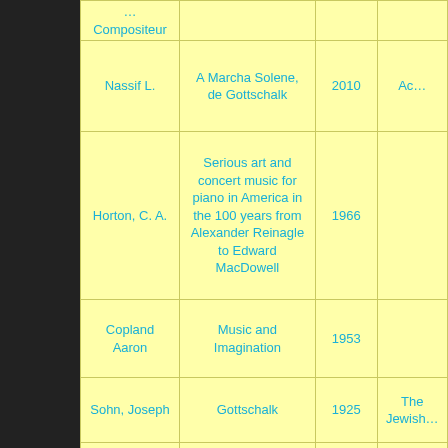| Author | Title | Year | Publisher |
| --- | --- | --- | --- |
| Nassif L. | A Marcha Solene, de Gottschalk | 2010 | Ac… |
| Horton, C. A. | Serious art and concert music for piano in America in the 100 years from Alexander Reinagle to Edward MacDowell | 1966 |  |
| Copland Aaron | Music and Imagination | 1953 |  |
| Sohn, Joseph | Gottschalk | 1925 | The Jewish… |
| Charlery-Adele, R. | Un compositeur classique americain aux couleurs caribeennes : Louis… | 2008 | France… |